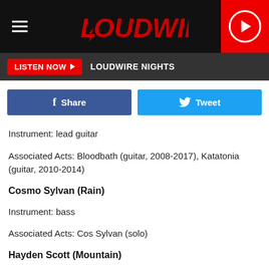LOUDWIRE
LISTEN NOW  LOUDWIRE NIGHTS
Share  Tweet
Instrument: lead guitar
Associated Acts: Bloodbath (guitar, 2008-2017), Katatonia (guitar, 2010-2014)
Cosmo Sylvan (Rain)
Instrument: bass
Associated Acts: Cos Sylvan (solo)
Hayden Scott (Mountain)